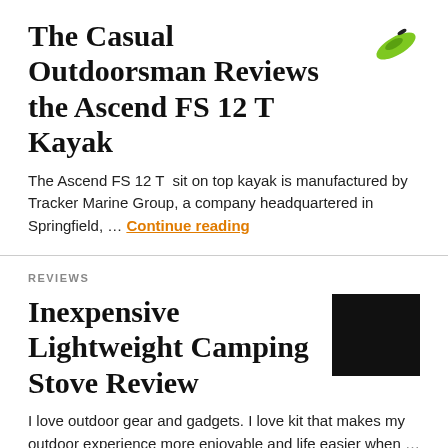The Casual Outdoorsman Reviews the Ascend FS 12 T Kayak
[Figure (photo): Green kayak image in top-right corner]
The Ascend FS 12 T  sit on top kayak is manufactured by Tracker Marine Group, a company headquartered in Springfield, … Continue reading
REVIEWS
Inexpensive Lightweight Camping Stove Review
[Figure (photo): Black square image placeholder for camping stove]
I love outdoor gear and gadgets. I love kit that makes my outdoor experience more enjoyable and life easier when … Continue reading